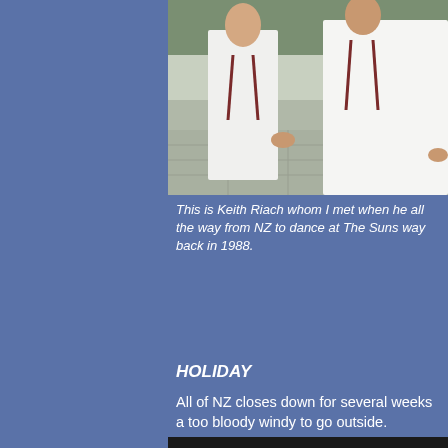[Figure (photo): People dressed in white clothing outdoors, partially cropped]
This is Keith Riach whom I met when he all the way from NZ to dance at The Suns way back in 1988.
HOLIDAY
All of NZ closes down for several weeks a too bloody windy to go outside.
[Figure (photo): Close-up of a wind gauge instrument showing WIND 3150s with dual dials marked TRUE and APP, with readings at 30, 60, and 90 degree marks]